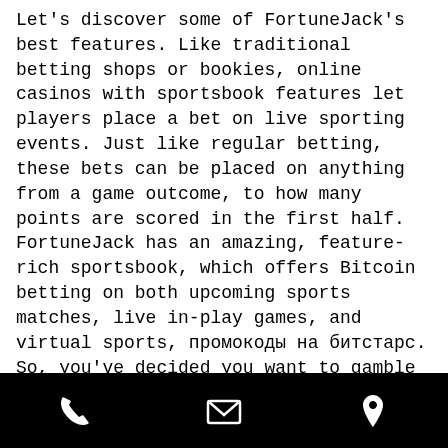Let's discover some of FortuneJack's best features. Like traditional betting shops or bookies, online casinos with sportsbook features let players place a bet on live sporting events. Just like regular betting, these bets can be placed on anything from a game outcome, to how many points are scored in the first half. FortuneJack has an amazing, feature-rich sportsbook, which offers Bitcoin betting on both upcoming sports matches, live in-play games, and virtual sports, промокоды на битстарс. So, you've decided you want to gamble with Bitcoin and cryptocurrency, and you've got your crypto ready to go, промокоды на битстарс. The gambling industry is under strict regulations. Sportsbooks must obtain licenses for each country, pay fees, taxes
phone | mail | location